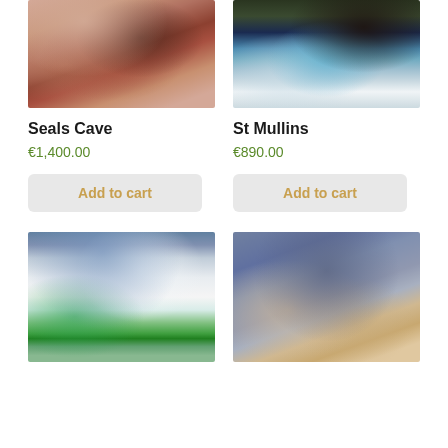[Figure (photo): Abstract painting of Seals Cave with warm earthy tones, orange and brown hues]
[Figure (photo): Aerial or close-up photograph of St Mullins with teal blue water and white foam/rapids]
Seals Cave
€1,400.00
Add to cart
St Mullins
€890.00
Add to cart
[Figure (photo): Landscape painting with cloudy sky, green foliage and a river or path through misty scenery]
[Figure (photo): Abstract painting with blue-grey tones and beige/cream rough textured elements at the bottom]